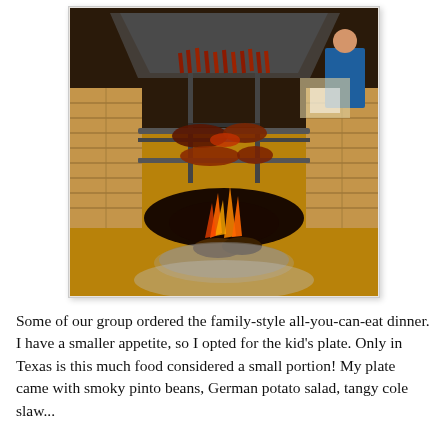[Figure (photo): A stone BBQ pit fireplace with meat and sausages cooking on grill grates above an open wood fire. Hanging sausages are visible at the top under a metal hood. The pit is built from stacked stone blocks and located inside a restaurant.]
Some of our group ordered the family-style all-you-can-eat dinner. I have a smaller appetite, so I opted for the kid's plate. Only in Texas is this much food considered a small portion! My plate came with smoky pinto beans, German potato salad, tangy cole slaw...